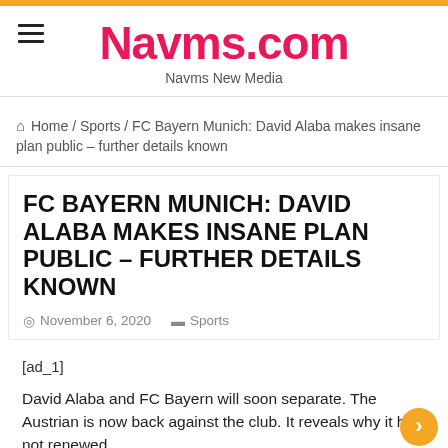Navms.com — Navms New Media
Home / Sports / FC Bayern Munich: David Alaba makes insane plan public – further details known
FC BAYERN MUNICH: DAVID ALABA MAKES INSANE PLAN PUBLIC – FURTHER DETAILS KNOWN
November 6, 2020   Sports
[ad_1]
David Alaba and FC Bayern will soon separate. The Austrian is now back against the club. It reveals why it has not renewed.